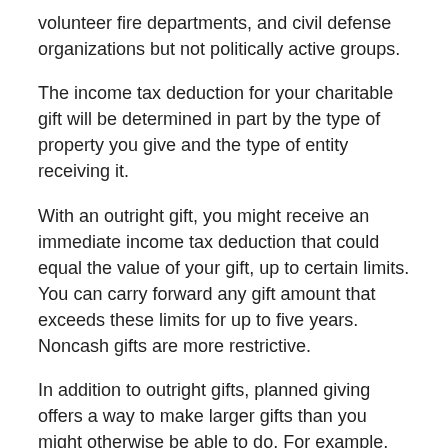volunteer fire departments, and civil defense organizations but not politically active groups.
The income tax deduction for your charitable gift will be determined in part by the type of property you give and the type of entity receiving it.
With an outright gift, you might receive an immediate income tax deduction that could equal the value of your gift, up to certain limits. You can carry forward any gift amount that exceeds these limits for up to five years. Noncash gifts are more restrictive.
In addition to outright gifts, planned giving offers a way to make larger gifts than you might otherwise be able to do. For example, by donating highly appreciated assets (such as stocks) during your lifetime, you may be able to help reduce or avoid paying capital gains taxes, thus potentially enhancing the value of your gift to the charitable organization and increasing your tax savings.
Moreover,